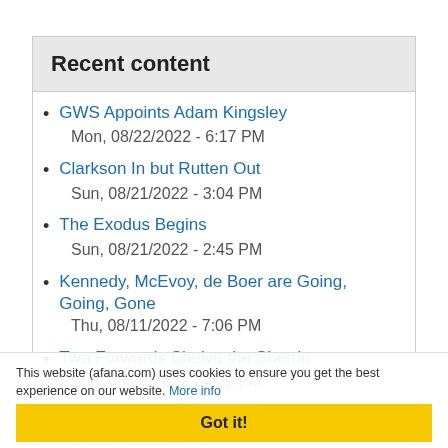Recent content
GWS Appoints Adam Kingsley
Mon, 08/22/2022 - 6:17 PM
Clarkson In but Rutten Out
Sun, 08/21/2022 - 3:04 PM
The Exodus Begins
Sun, 08/21/2022 - 2:45 PM
Kennedy, McEvoy, de Boer are Going, Going, Gone
Thu, 08/11/2022 - 7:06 PM
Two Forwards Shelve the Sherrin
Sun, 08/07/2022 - 4:29 PM
Fired Up Demons Demolish Dockers
Sat, 07/30/2022 - 5:04 AM
This website (afana.com) uses cookies to ensure you get the best experience on our website. More info
Got it!